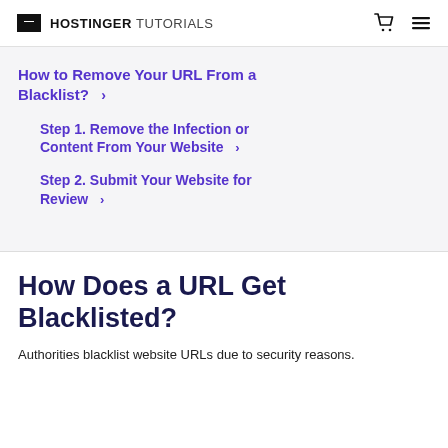HOSTINGER TUTORIALS
How to Remove Your URL From a Blacklist? >
Step 1. Remove the Infection or Content From Your Website >
Step 2. Submit Your Website for Review >
How Does a URL Get Blacklisted?
Authorities blacklist website URLs due to security reasons.